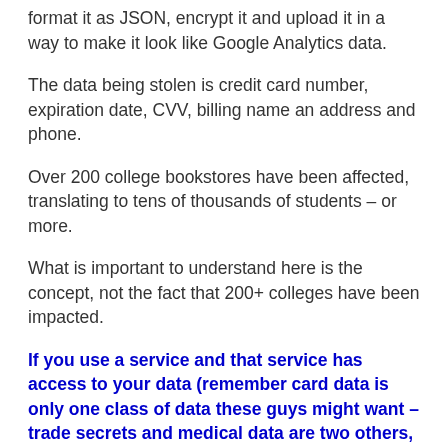format it as JSON, encrypt it and upload it in a way to make it look like Google Analytics data.
The data being stolen is credit card number, expiration date, CVV, billing name an address and phone.
Over 200 college bookstores have been affected, translating to tens of thousands of students – or more.
What is important to understand here is the concept, not the fact that 200+ colleges have been impacted.
If you use a service and that service has access to your data (remember card data is only one class of data these guys might want – trade secrets and medical data are two others, for example), you are potentially at risk if you don't protect yourself.
One thing that all of these attacks have in common is that the